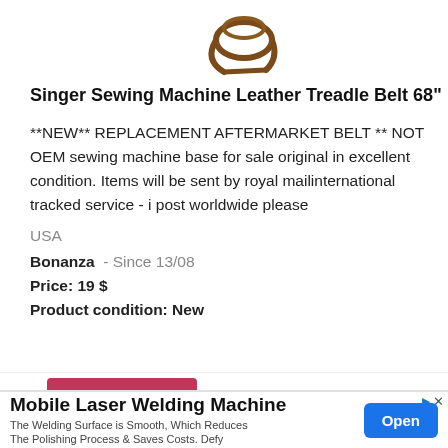[Figure (photo): Partial image of a leather treadle belt, brown colored, shown at top of product listing card]
Singer Sewing Machine Leather Treadle Belt 68"
**NEW** REPLACEMENT AFTERMARKET BELT ** NOT OEM sewing machine base for sale original in excellent condition. Items will be sent by royal mailinternational tracked service - i post worldwide please
USA
Bonanza  - Since 13/08
Price: 19 $
Product condition: New
[Figure (screenshot): Ad banner: Mobile Laser Welding Machine. The Welding Surface is Smooth, Which Reduces The Polishing Process & Saves Costs. Defy. With an Open button.]